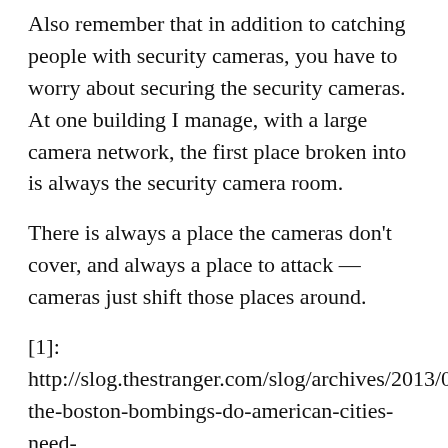Also remember that in addition to catching people with security cameras, you have to worry about securing the security cameras. At one building I manage, with a large camera network, the first place broken into is always the security camera room.
There is always a place the cameras don't cover, and always a place to attack — cameras just shift those places around.
[1]: http://slog.thestranger.com/slog/archives/2013/04 the-boston-bombings-do-american-cities-need-more-surveillance-cameras
[2]: